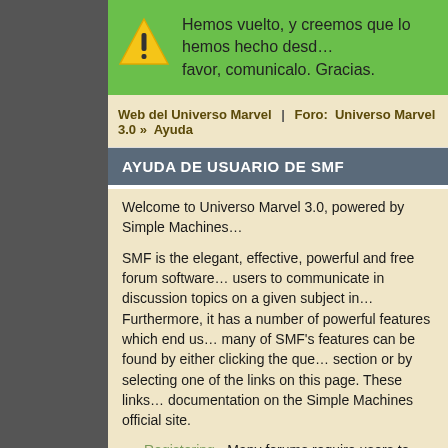Hemos vuelto, y creemos que lo hemos hecho desd... favor, comunicalo. Gracias.
Web del Universo Marvel | Foro: Universo Marvel 3.0 » Ayuda
AYUDA DE USUARIO DE SMF
Welcome to Universo Marvel 3.0, powered by Simple Machines...
SMF is the elegant, effective, powerful and free forum software... documentation on the Simple Machines official site.
Registering - Many forums require users to register to ga...
Logging In - Once registered, users must login to access...
Profile - Each member has their own personal profile.
Search - Searching is an extremely helpful tool for finding...
Posting - The whole point of a forum, posting allows use...